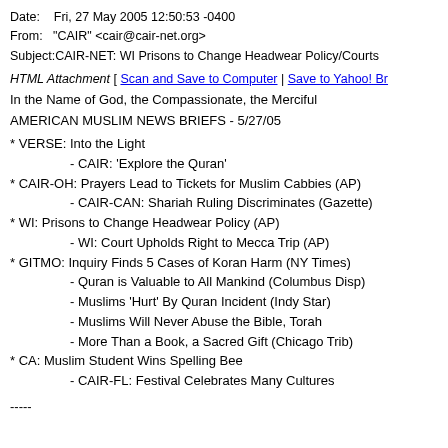Date:    Fri, 27 May 2005 12:50:53 -0400
From:    "CAIR" <cair@cair-net.org>
Subject:CAIR-NET: WI Prisons to Change Headwear Policy/Courts
HTML Attachment [ Scan and Save to Computer | Save to Yahoo! Br...
In the Name of God, the Compassionate, the Merciful
AMERICAN MUSLIM NEWS BRIEFS - 5/27/05
* VERSE: Into the Light
- CAIR: 'Explore the Quran'
* CAIR-OH: Prayers Lead to Tickets for Muslim Cabbies (AP)
- CAIR-CAN: Shariah Ruling Discriminates (Gazette)
* WI: Prisons to Change Headwear Policy (AP)
- WI: Court Upholds Right to Mecca Trip (AP)
* GITMO: Inquiry Finds 5 Cases of Koran Harm (NY Times)
- Quran is Valuable to All Mankind (Columbus Disp)
- Muslims 'Hurt' By Quran Incident (Indy Star)
- Muslims Will Never Abuse the Bible, Torah
- More Than a Book, a Sacred Gift (Chicago Trib)
* CA: Muslim Student Wins Spelling Bee
- CAIR-FL: Festival Celebrates Many Cultures
-----